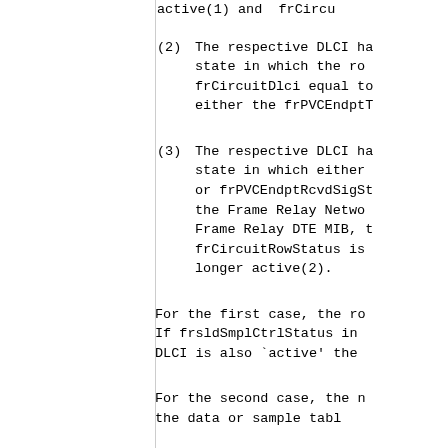active(1) and  frCircu
(2) The respective DLCI ha state in which the ro frCircuitDlci equal to either the frPVCEndptT
(3) The respective DLCI ha state in which either or frPVCEndptRcvdSigSt the Frame Relay Netwo Frame Relay DTE MIB, t frCircuitRowStatus is longer active(2).
For the first case, the ro If frsldSmplCtrlStatus in DLCI is also `active' the
For the second case, the n the data or sample tabl